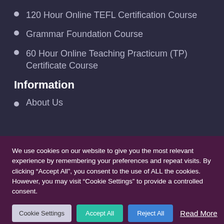120 Hour Online TEFL Certification Course
Grammar Foundation Course
60 Hour Online Teaching Practicum (TP) Certificate Course
Information
About Us
We use cookies on our website to give you the most relevant experience by remembering your preferences and repeat visits. By clicking “Accept All”, you consent to the use of ALL the cookies. However, you may visit “Cookie Settings” to provide a controlled consent.
Cookie Settings | Accept All | Reject All | Read More